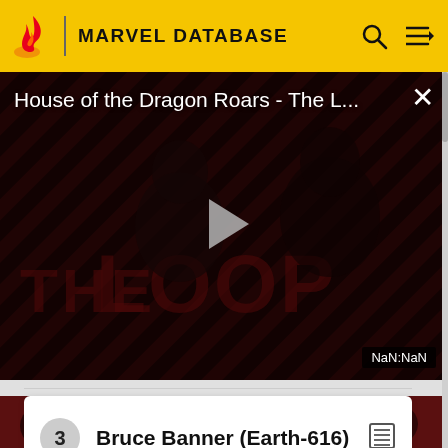MARVEL DATABASE
[Figure (screenshot): Video player showing 'House of the Dragon Roars - The L...' with a play button overlay, diagonal stripe background, dark figures, and 'THE LOOP' text watermark. Timer shows NaN:NaN.]
3  Bruce Banner (Earth-616)
[Figure (photo): Bottom strip showing a partial dark red/maroon image with figures, partially cropped.]